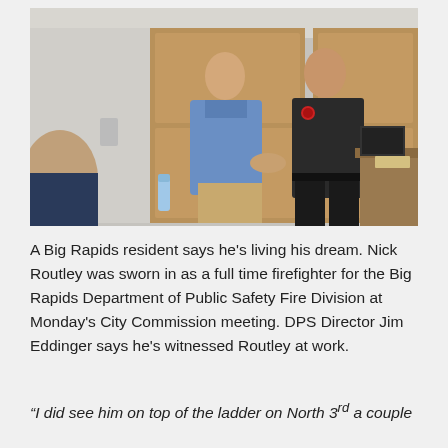[Figure (photo): Two men shaking hands at what appears to be an official government meeting room. One man is wearing a blue dress shirt and khaki pants, the other is wearing a black firefighter/public safety uniform. Other people are visible in the foreground and background, along with wooden cabinet doors and a desk.]
A Big Rapids resident says he's living his dream. Nick Routley was sworn in as a full time firefighter for the Big Rapids Department of Public Safety Fire Division at Monday's City Commission meeting. DPS Director Jim Eddinger says he's witnessed Routley at work.
“I did see him on top of the ladder on North 3rd a couple